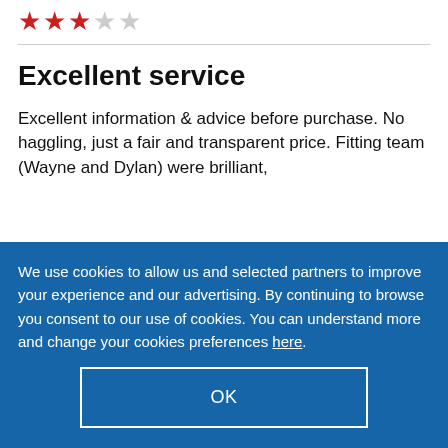[Figure (other): 3 out of 5 star rating shown as red filled stars and grey empty stars]
Excellent service
Excellent information & advice before purchase. No haggling, just a fair and transparent price. Fitting team (Wayne and Dylan) were brilliant,
We use cookies to allow us and selected partners to improve your experience and our advertising. By continuing to browse you consent to our use of cookies. You can understand more and change your cookies preferences here.
OK